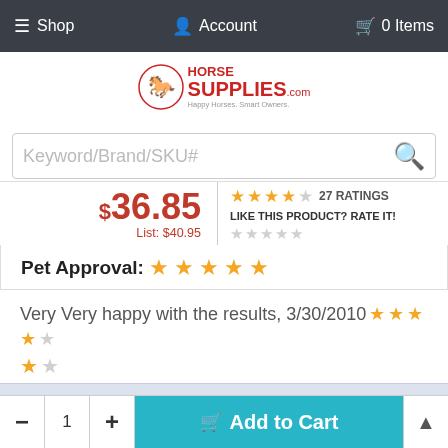Shop  Account  0 Items
[Figure (logo): Horse Supplies .com logo with horse icon and tagline 'Happy Horses, Smart Owners']
Keyword/Brand/SKU#
$36.85  List: $40.95  ★★★★☆ 27 RATINGS  LIKE THIS PRODUCT? RATE IT!
Pet Approval: ★★★★★
Very Very happy with the results, 3/30/2010 ★★★★☆
MJ from
By Continuing to use our site, you consent to our use of cookies to improve your experience. Learn more
- 1 +  Add to Cart  ▲